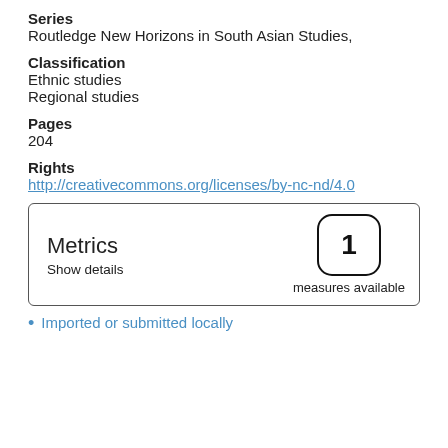Series
Routledge New Horizons in South Asian Studies,
Classification
Ethnic studies
Regional studies
Pages
204
Rights
http://creativecommons.org/licenses/by-nc-nd/4.0
[Figure (infographic): Metrics box showing '1 measures available' with a rounded square badge containing the number 1, and 'Show details' text.]
Imported or submitted locally